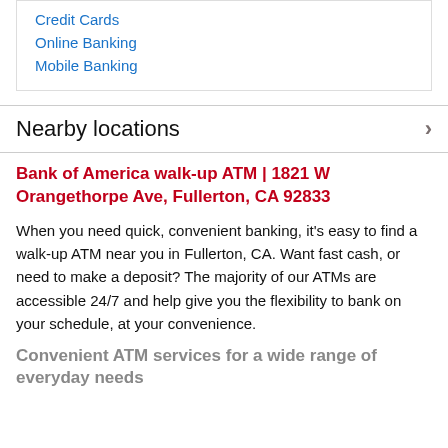Credit Cards
Online Banking
Mobile Banking
Nearby locations
Bank of America walk-up ATM | 1821 W Orangethorpe Ave, Fullerton, CA 92833
When you need quick, convenient banking, it's easy to find a walk-up ATM near you in Fullerton, CA. Want fast cash, or need to make a deposit? The majority of our ATMs are accessible 24/7 and help give you the flexibility to bank on your schedule, at your convenience.
Convenient ATM services for a wide range of everyday needs